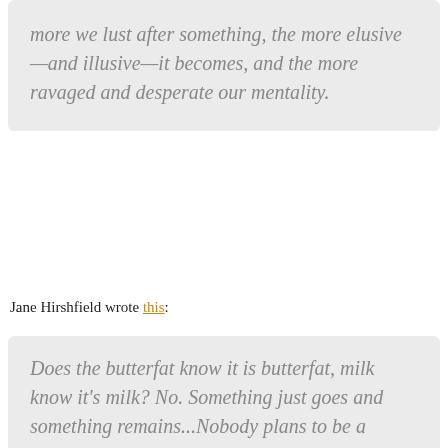more we lust after something, the more elusive—and illusive—it becomes, and the more ravaged and desperate our mentality.
Jane Hirshfield wrote this:
Does the butterfat know it is butterfat, milk know it's milk? No. Something just goes and something remains...Nobody plans to be a ghost.
*
Dear Lester: My grandfather's last words were "Flight